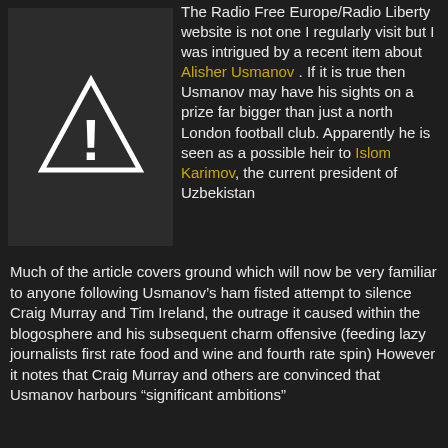[Figure (illustration): Warning triangle icon with exclamation mark on dark background]
The Radio Free Europe/Radio Liberty website is not one I regularly visit but I was intrigued by a recent item about Alisher Usmanov . If it is true then Usmanov may have his sights on a prize far bigger than just a north London football club. Apparently he is seen as a possible heir to Islom Karimov, the current president of Uzbekistan
Much of the article covers ground which will now be very familiar to anyone following Usmanov’s ham fisted attempt to silence Craig Murray and Tim Ireland, the outrage it caused within the blogosphere and his subsequent charm offensive (feeding lazy journalists first rate food and wine and fourth rate spin) However it notes that Craig Murray and others are convinced that Usmanov harbours “significant ambitions”